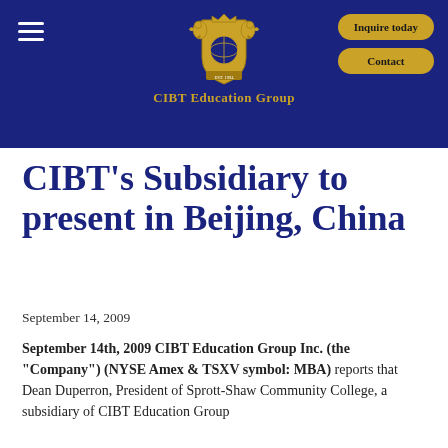CIBT Education Group
CIBT's Subsidiary to present in Beijing, China
September 14, 2009
September 14th, 2009 CIBT Education Group Inc. (the "Company") (NYSE Amex & TSXV symbol: MBA) reports that Dean Duperron, President of Sprott-Shaw Community College, a subsidiary of CIBT Education Group